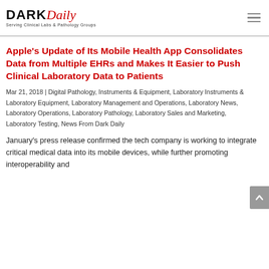[Figure (logo): Dark Daily logo — DARK in bold black, Daily in red italic, tagline 'Serving Clinical Labs & Pathology Groups']
Apple's Update of Its Mobile Health App Consolidates Data from Multiple EHRs and Makes It Easier to Push Clinical Laboratory Data to Patients
Mar 21, 2018 | Digital Pathology, Instruments & Equipment, Laboratory Instruments & Laboratory Equipment, Laboratory Management and Operations, Laboratory News, Laboratory Operations, Laboratory Pathology, Laboratory Sales and Marketing, Laboratory Testing, News From Dark Daily
January's press release confirmed the tech company is working to integrate critical medical data into its mobile devices, while further promoting interoperability and